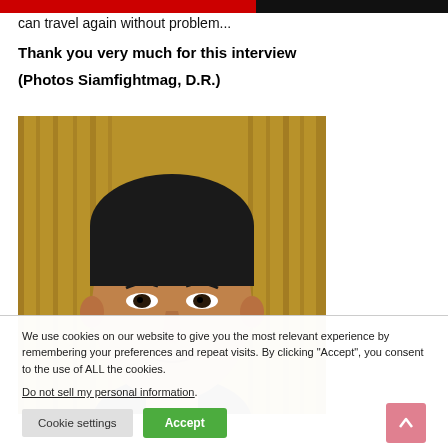can travel again without problem...
Thank you very much for this interview

(Photos Siamfightmag, D.R.)
[Figure (photo): Portrait photo of an Asian man with short dark hair, wearing a dark suit, against a golden/yellowish curtain background.]
We use cookies on our website to give you the most relevant experience by remembering your preferences and repeat visits. By clicking “Accept”, you consent to the use of ALL the cookies. Do not sell my personal information.